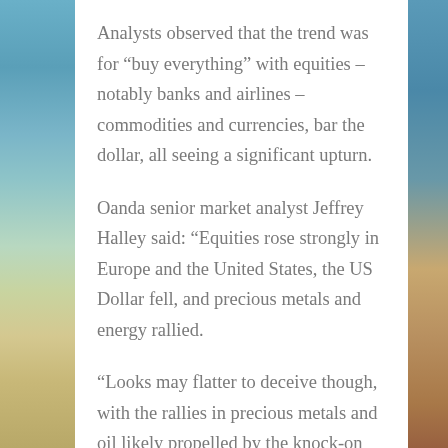Analysts observed that the trend was for “buy everything” with equities – notably banks and airlines – commodities and currencies, bar the dollar, all seeing a significant upturn.
Oanda senior market analyst Jeffrey Halley said: “Equities rose strongly in Europe and the United States, the US Dollar fell, and precious metals and energy rallied.
“Looks may flatter to deceive though, with the rallies in precious metals and oil likely propelled by the knock-on effects of the rise in equities, rather than a sudden structural change in their outlooks, especially oil.”